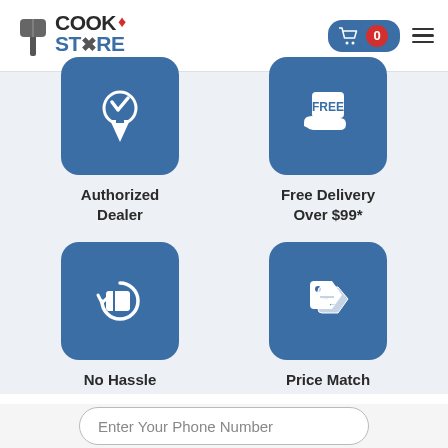[Figure (logo): CookStore logo with maple leaf and spatula icon]
[Figure (infographic): Four feature icons: Authorized Dealer (medal/ribbon), Free Delivery Over $99 (free delivery hand), No Hassle Returns (return arrow box), Price Match Guarantee (price tags)]
Authorized Dealer
Free Delivery Over $99*
No Hassle Returns
Price Match Guarantee
Enter Your Phone Number